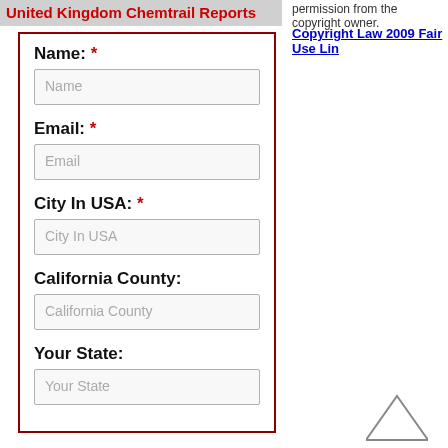United Kingdom Chemtrail Reports
permission from the copyright owner.
Copyright Law 2009 Fair Use Lin...
Name: *
[Name input field]

Email: *
[Email input field]

City In USA: *
[City In USA input field]

California County:
[California County input field]

Your State:
[Your State input field]